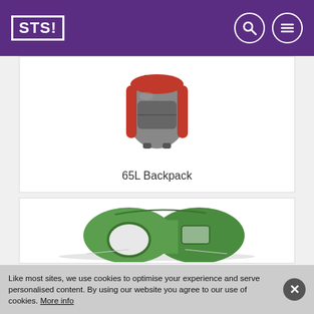STS!
[Figure (photo): Red and grey 65L hiking backpack, partially cropped at top]
65L Backpack
[Figure (photo): Green tunnel camping tent on white background, partially cropped]
Like most sites, we use cookies to optimise your experience and serve personalised content. By using our website you agree to our use of cookies. More info